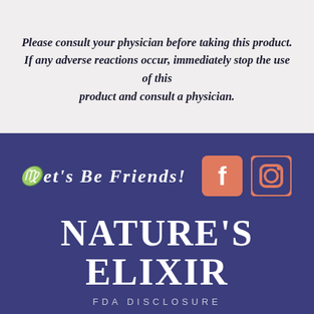Please consult your physician before taking this product. If any adverse reactions occur, immediately stop the use of this product and consult a physician.
[Figure (other): Dark blue/navy background section with 'LET'S BE FRIENDS!' text in white decorative italic font, Facebook and Instagram salmon/coral colored social media icons, the Nature's Elixir brand logo in white decorative serif font, and 'FDA DISCLOSURE' text at the bottom in light spaced caps.]